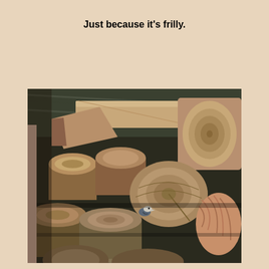Just because it's frilly.
[Figure (photo): A photograph of a large stack of cut firewood logs piled inside a wooden shed. A small bird (appears to be a nuthatch or similar small bird) is perched among the logs in the middle of the image. The logs show cross-sections with visible wood grain rings. The shed has a corrugated metal roof visible at the top.]